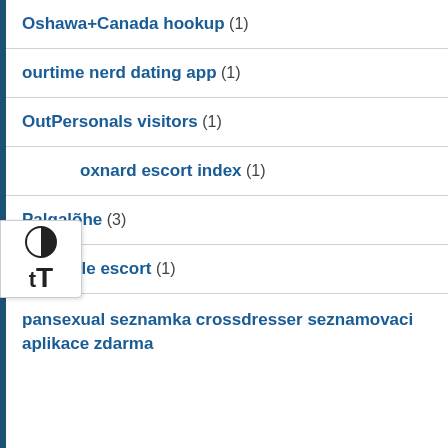Oshawa+Canada hookup (1)
ourtime nerd dating app (1)
OutPersonals visitors (1)
oxnard escort index (1)
Palgalõhe (3)
palmdale escort (1)
pansexual seznamka crossdresser seznamovaci aplikace zdarma